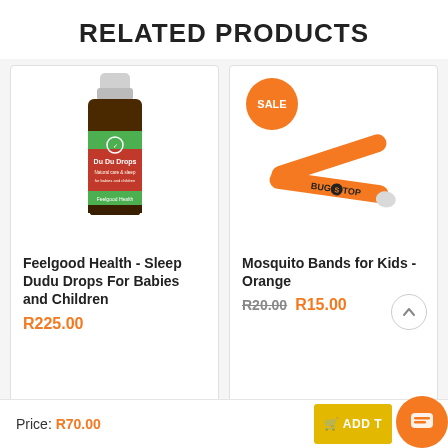RELATED PRODUCTS
[Figure (photo): Feelgood Health Du Du Drops bottle product image]
Feelgood Health - Sleep Dudu Drops For Babies and Children
R225.00
[Figure (photo): Orange Mosquito Bands for Kids (BugStop) with SALE badge]
Mosquito Bands for Kids - Orange
R20.00 R15.00
Price: R70.00